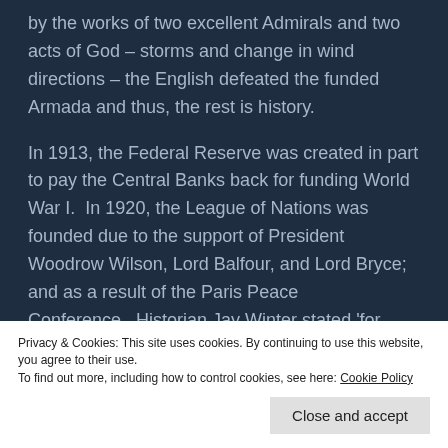by the works of two excellent Admirals and two acts of God – storms and change in wind directions – the English defeated the funded Armada and thus, the rest is history.
In 1913, the Federal Reserve was created in part to pay the Central Banks back for funding World War I.  In 1920, the League of Nations was founded due to the support of President Woodrow Wilson, Lord Balfour, and Lord Bryce; and as a result of the Paris Peace Conference.  Historian Jay Winter stated 'for Wilson there was one fundamental outcome that had to
Privacy & Cookies: This site uses cookies. By continuing to use this website, you agree to their use.
To find out more, including how to control cookies, see here: Cookie Policy
Close and accept
we would eventually be yielding sovereignty, the